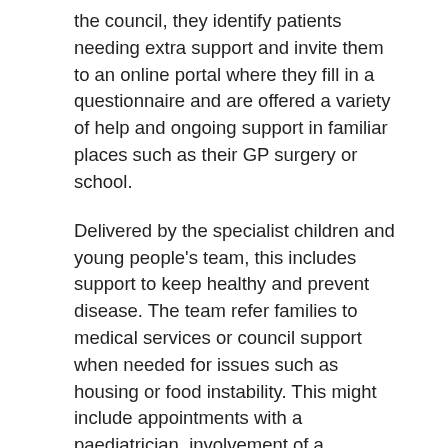the council, they identify patients needing extra support and invite them to an online portal where they fill in a questionnaire and are offered a variety of help and ongoing support in familiar places such as their GP surgery or school.
Delivered by the specialist children and young people's team, this includes support to keep healthy and prevent disease. The team refer families to medical services or council support when needed for issues such as housing or food instability. This might include appointments with a paediatrician, involvement of a community nurse, or family therapy.
The work found that 40% of children in the community with asthma have uncontrolled symptoms, 20% have anxiety/depression,10% to 20% of their parents have mental ill health, housing instability and food insecurity. By bringing together partners, including health, housing, council and the voluntary sector, they are prioritising proactive children's health through the